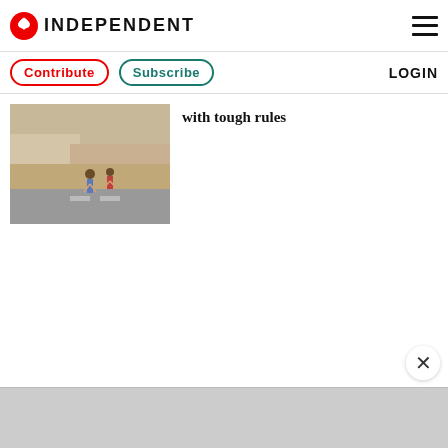INDEPENDENT
Contribute  Subscribe  LOGIN
[Figure (photo): Two children near a wall along a road in what appears to be a Middle Eastern town setting]
with tough rules